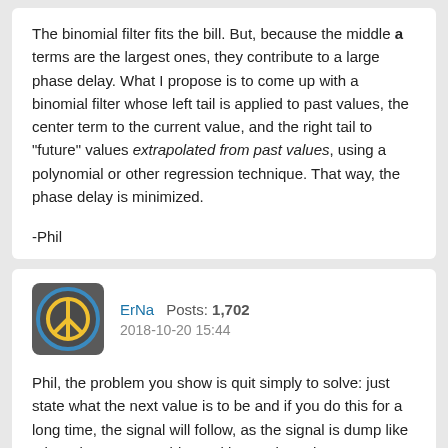The binomial filter fits the bill. But, because the middle a terms are the largest ones, they contribute to a large phase delay. What I propose is to come up with a binomial filter whose left tail is applied to past values, the center term to the current value, and the right tail to "future" values extrapolated from past values, using a polynomial or other regression technique. That way, the phase delay is minimized.
-Phil
ErNa  Posts: 1,702  2018-10-20 15:44
Phil, the problem you show is quit simply to solve: just state what the next value is to be and if you do this for a long time, the signal will follow, as the signal is dump like a bread. As we are older and know about the conservation of momentum and energy, we do not follow this advice of